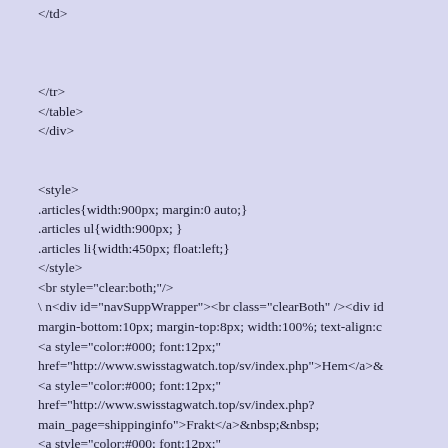</td>


</tr>
</table>
</div>


<style>
.articles{width:900px; margin:0 auto;}
.articles ul{width:900px; }
.articles li{width:450px; float:left;}
</style>
<br style="clear:both;"/>
\ n<div id="navSuppWrapper"><br class="clearBoth" /><div id margin-bottom:10px; margin-top:8px; width:100%; text-align:c
<a style="color:#000; font:12px;"
href="http://www.swisstagwatch.top/sv/index.php">Hem</a>&
<a style="color:#000; font:12px;"
href="http://www.swisstagwatch.top/sv/index.php?main_page=shippinginfo">Frakt</a>&nbsp;&nbsp;
<a style="color:#000; font:12px;"
href="http://www.swisstagwatch.top/sv/index.php?main_page=Payment_Methods">Grossist</a>&nbsp;&nbsp;
<a style="color:#000; font:12px;"